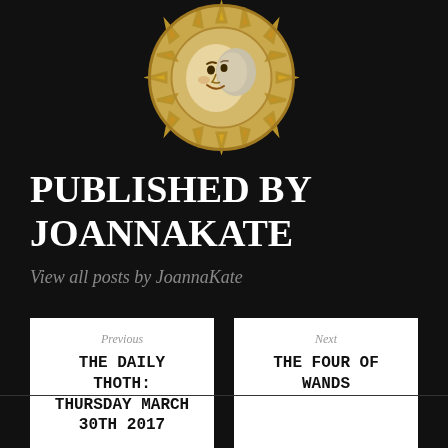[Figure (illustration): Circular sun/moon face medallion with golden rays, decorative celestial emblem with face in center]
PUBLISHED BY JOANNAKATE
View all posts by JoannaKate
Previous
THE DAILY THOTH: THURSDAY MARCH 30TH 2017
Next
THE FOUR OF WANDS